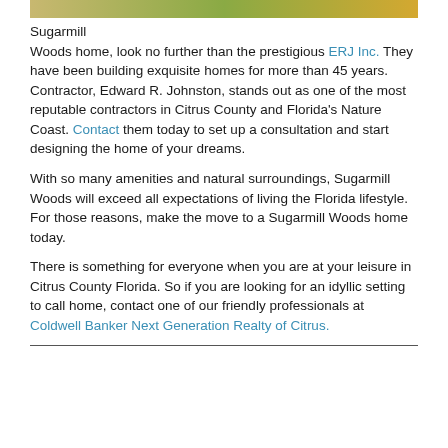[Figure (photo): Partial image strip at the top of the page showing outdoor/nature scene]
Sugarmill Woods home, look no further than the prestigious ERJ Inc. They have been building exquisite homes for more than 45 years. Contractor, Edward R. Johnston, stands out as one of the most reputable contractors in Citrus County and Florida's Nature Coast. Contact them today to set up a consultation and start designing the home of your dreams.
With so many amenities and natural surroundings, Sugarmill Woods will exceed all expectations of living the Florida lifestyle. For those reasons, make the move to a Sugarmill Woods home today.
There is something for everyone when you are at your leisure in Citrus County Florida. So if you are looking for an idyllic setting to call home, contact one of our friendly professionals at Coldwell Banker Next Generation Realty of Citrus.